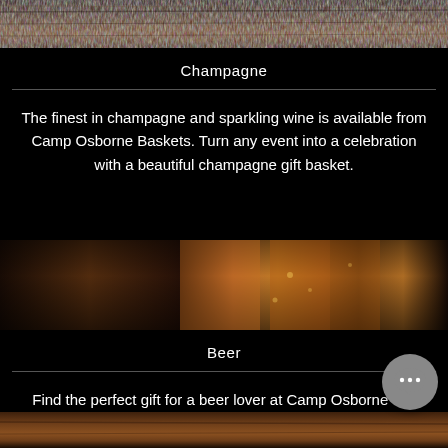[Figure (photo): Dark wood bar surface at the top of the page]
Champagne
The finest in champagne and sparkling wine is available from Camp Osborne Baskets. Turn any event into a celebration with a beautiful champagne gift basket.
[Figure (photo): Beer glasses on a bar, amber colored beer visible]
Beer
Find the perfect gift for a beer lover at Camp Osborne Gift Baskets. Whether it's a big name brand or a smaller craft beer, we're sure to have just what you need
[Figure (photo): Dark wood bar surface at the bottom of the page]